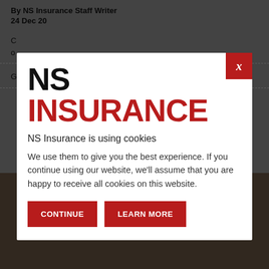By NS Insurance Staff Writer
24 Dec 20
C... o...
G...
[Figure (screenshot): NS Insurance cookie consent modal overlay. Contains NS INSURANCE logo (NS in black, INSURANCE in red), cookie notice text, and two red buttons: CONTINUE and LEARN MORE. A red X close button is in the top-right corner.]
NS Insurance is using cookies
We use them to give you the best experience. If you continue using our website, we'll assume that you are happy to receive all cookies on this website.
CONTINUE
LEARN MORE